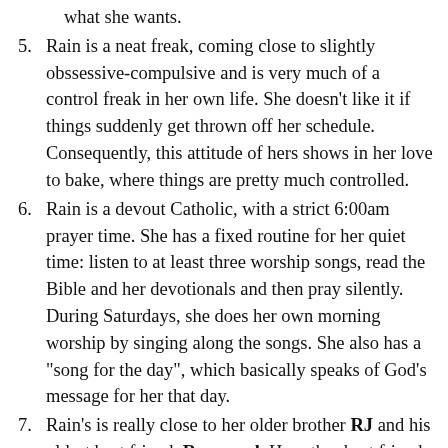what she wants.
5. Rain is a neat freak, coming close to slightly obssessive-compulsive and is very much of a control freak in her own life. She doesn’t like it if things suddenly get thrown off her schedule. Consequently, this attitude of hers shows in her love to bake, where things are pretty much controlled.
6. Rain is a devout Catholic, with a strict 6:00am prayer time. She has a fixed routine for her quiet time: listen to at least three worship songs, read the Bible and her devotionals and then pray silently. During Saturdays, she does her own morning worship by singing along the songs. She also has a “song for the day”, which basically speaks of God’s message for her that day.
7. Rain’s is really close to her older brother RJ and his oldest best friend, Raymond. Her other best friends are Meah, who went to the US for graduate school; Faith, who became a full time missionary for their singles group and was on mission for 2 years somewhere in South America; and Mark, her only other male best friend who cami-